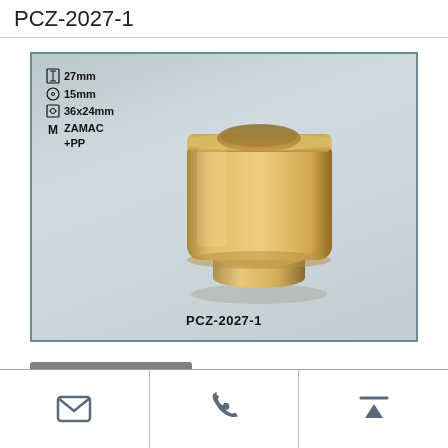PCZ-2027-1
[Figure (photo): Gold/brass perfume cap component PCZ-2027-1 shown with specifications: height 27mm, diameter 15mm, outer dimensions 36x24mm, material ZAMAC+PP. The cap is a squat rectangular form with rounded corners and a circular recessed top, sitting on a cylindrical base, rendered in polished gold/champagne finish.]
LEAVE A MESSAGE